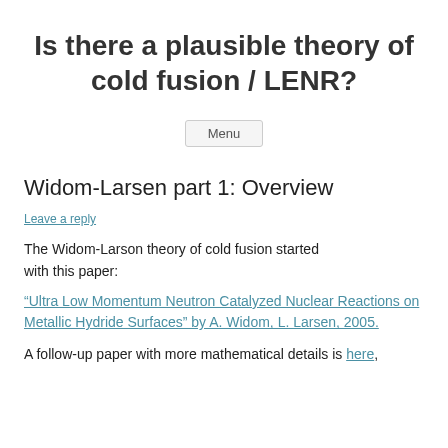Is there a plausible theory of cold fusion / LENR?
Menu
Widom-Larsen part 1: Overview
Leave a reply
The Widom-Larson theory of cold fusion started with this paper:
“Ultra Low Momentum Neutron Catalyzed Nuclear Reactions on Metallic Hydride Surfaces” by A. Widom, L. Larsen, 2005.
A follow-up paper with more mathematical details is here,